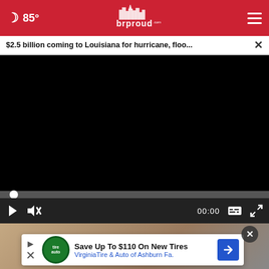[Figure (screenshot): Website header bar for brproud.com with red background, crescent moon icon, 85° temperature, brproud.com logo in center, and hamburger menu on right]
$2.5 billion coming to Louisiana for hurricane, floo...
[Figure (screenshot): Black video player area with progress bar showing 00:00, play button, mute button, caption button, and fullscreen button on dark controls bar]
[Figure (photo): Partial image below video player showing a person, partially obscured]
[Figure (screenshot): Advertisement overlay: Save Up To $110 On New Tires - VirginiaTire & Auto of Ashburn Fa.]